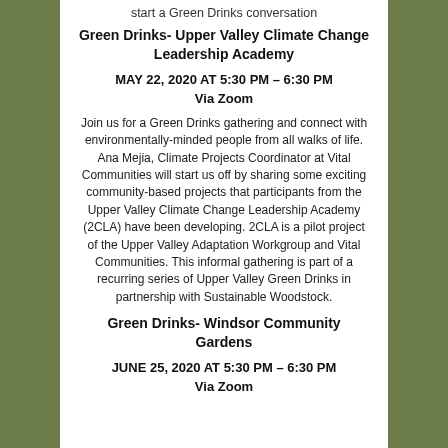start a Green Drinks conversation
Green Drinks- Upper Valley Climate Change Leadership Academy
MAY 22, 2020 AT 5:30 PM – 6:30 PM
Via Zoom
Join us for a Green Drinks gathering and connect with environmentally-minded people from all walks of life. Ana Mejia, Climate Projects Coordinator at Vital Communities will start us off by sharing some exciting community-based projects that participants from the Upper Valley Climate Change Leadership Academy (2CLA) have been developing. 2CLA is a pilot project of the Upper Valley Adaptation Workgroup and Vital Communities. This informal gathering is part of a recurring series of Upper Valley Green Drinks in partnership with Sustainable Woodstock.
Green Drinks- Windsor Community Gardens
JUNE 25, 2020 AT 5:30 PM – 6:30 PM
Via Zoom